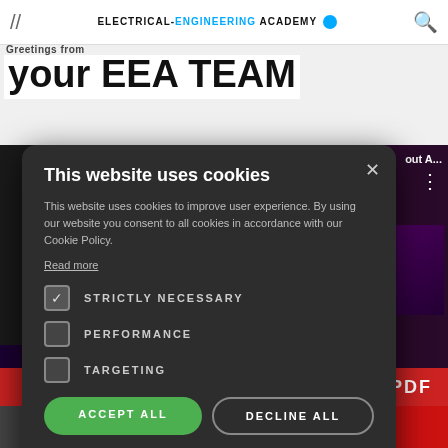ELECTRICAL-ENGINEERING ACADEMY
Greetings from your EEA TEAM
[Figure (screenshot): Cookie consent modal dialog on Electrical Engineering Academy website with dark background, showing cookie options and accept/decline buttons]
This website uses cookies
This website uses cookies to improve user experience. By using our website you consent to all cookies in accordance with our Cookie Policy.
Read more
STRICTLY NECESSARY
PERFORMANCE
TARGETING
ACCEPT ALL
DECLINE ALL
SHOW DETAILS